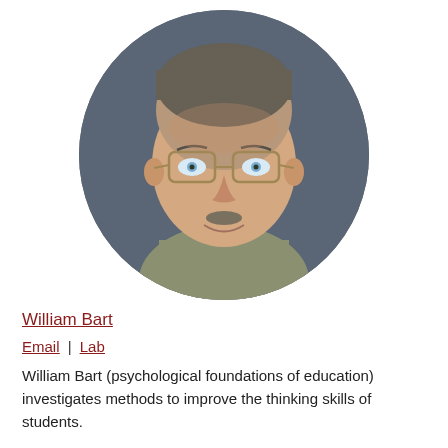[Figure (photo): Circular cropped headshot of William Bart, a middle-aged man with glasses and a plaid shirt, smiling, photographed against a gray-blue background.]
William Bart
Email | Lab
William Bart (psychological foundations of education) investigates methods to improve the thinking skills of students.